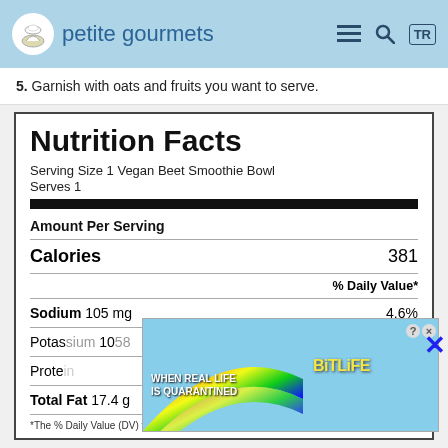petite gourmets
5. Garnish with oats and fruits you want to serve.
Nutrition Facts
Serving Size 1 Vegan Beet Smoothie Bowl
Serves 1
Amount Per Serving
Calories 381
% Daily Value*
Sodium 105 mg 4.6%
Potassium 1058 26.7%
Protein 15.6%
Total Fat 17.4 g 22.3%
*The % Daily Value (DV) tells you how much a nutrient in a serving of food contributes